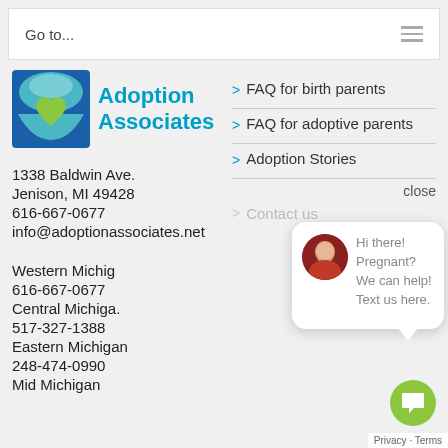Go to...
[Figure (logo): Adoption Associates logo with blue/teal square graphic and green heart]
1338 Baldwin Ave.
Jenison, MI 49428
616-667-0677
info@adoptionassociates.net
Western Michig
616-667-0677
Central Michiga.
517-327-1388
Eastern Michigan
248-474-0990
Mid Michigan
FAQ for birth parents
FAQ for adoptive parents
Adoption Stories
close
[Figure (photo): Chat widget with woman avatar and message: Hi there! Pregnant? We can help! Text us here.]